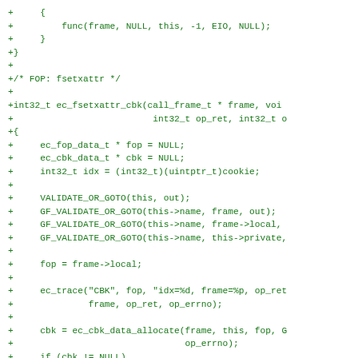[Figure (other): Source code diff (patch) showing C code additions for ec_fsetxattr_cbk function, displayed in green monospace font on white background]